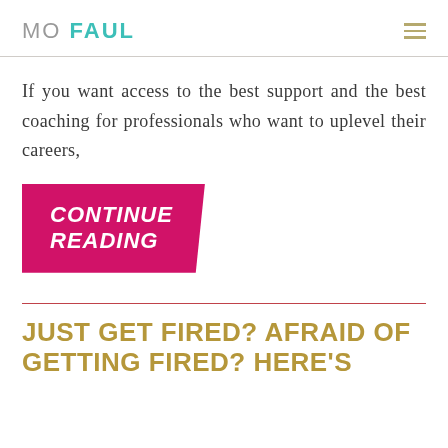MO FAUL
If you want access to the best support and the best coaching for professionals who want to uplevel their careers,
[Figure (other): Pink/magenta parallelogram-shaped button with white bold italic text reading CONTINUE READING]
JUST GET FIRED? AFRAID OF GETTING FIRED? HERE'S